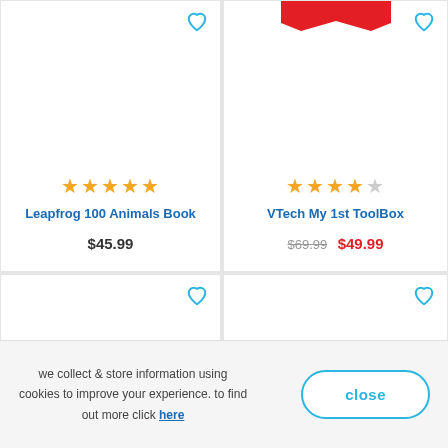[Figure (screenshot): Product card: Leapfrog 100 Animals Book, 5 stars, $45.99]
[Figure (screenshot): Product card: VTech My 1st ToolBox, 4 stars, original $69.99, sale $49.99]
[Figure (screenshot): Empty product card with heart/wishlist icon (bottom left)]
[Figure (screenshot): Empty product card with heart/wishlist icon and back-to-top button (bottom right)]
we collect & store information using cookies to improve your experience. to find out more click here
close